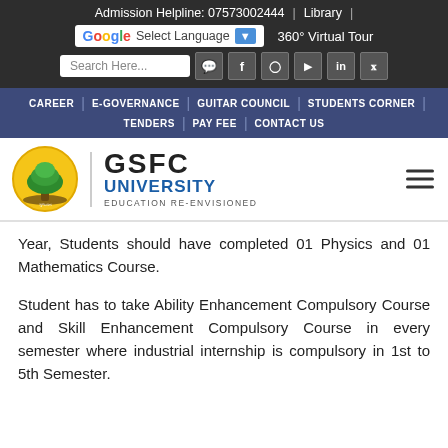Admission Helpline: 07573002444 | Library | Select Language | 360° Virtual Tour
CAREER | E-GOVERNANCE | GUITAR COUNCIL | STUDENTS CORNER | TENDERS | PAY FEE | CONTACT US
[Figure (logo): GSFC University logo with tree emblem, text: GSFC UNIVERSITY EDUCATION RE-ENVISIONED]
Year, Students should have completed 01 Physics and 01 Mathematics Course.
Student has to take Ability Enhancement Compulsory Course and Skill Enhancement Compulsory Course in every semester where industrial internship is compulsory in 1st to 5th Semester.